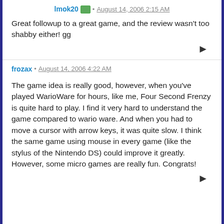lmok20 · August 14, 2006 2:15 AM
Great followup to a great game, and the review wasn't too shabby either! gg
frozax · August 14, 2006 4:22 AM
The game idea is really good, however, when you've played WarioWare for hours, like me, Four Second Frenzy is quite hard to play. I find it very hard to understand the game compared to wario ware. And when you had to move a cursor with arrow keys, it was quite slow. I think the same game using mouse in every game (like the stylus of the Nintendo DS) could improve it greatly.
However, some micro games are really fun. Congrats!